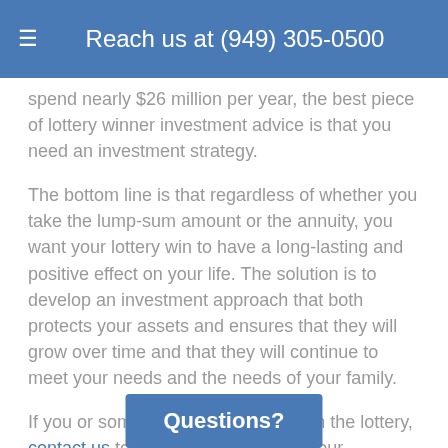Reach us at (949) 305-0500
spend nearly $26 million per year, the best piece of lottery winner investment advice is that you need an investment strategy.
The bottom line is that regardless of whether you take the lump-sum amount or the annuity, you want your lottery win to have a long-lasting and positive effect on your life. The solution is to develop an investment approach that both protects your assets and ensures that they will grow over time and that they will continue to meet your needs and the needs of your family.
If you or someone you know has won the lottery, contact us to see how we can help your particular situation. We will call you back today.
[Figure (other): Blue 'Questions?' button at bottom center of page]